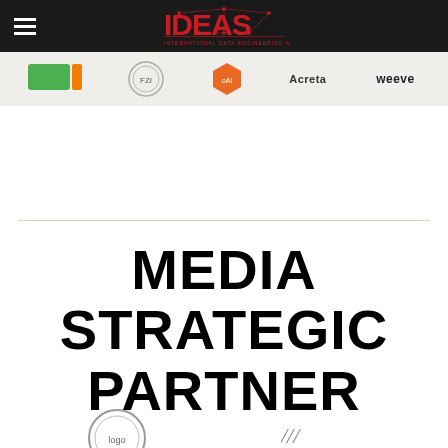IDEAS — International Data Engineering and Science Association navigation bar with logo
[Figure (logo): Sponsor logos strip showing multiple partner organization logos including Acreta and weeve]
MEDIA STRATEGIC PARTNER
[Figure (logo): Partial logos visible at bottom of page]